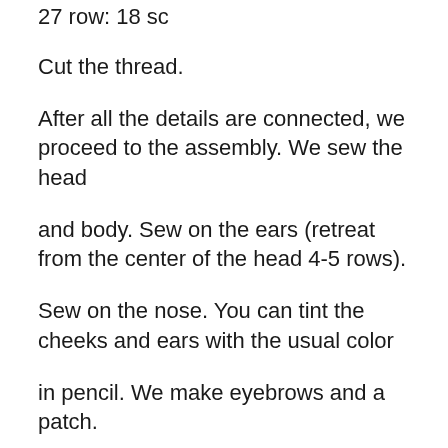27 row: 18 sc
Cut the thread.
After all the details are connected, we proceed to the assembly. We sew the head and body. Sew on the ears (retreat from the center of the head 4-5 rows).
Sew on the nose. You can tint the cheeks and ears with the usual color in pencil. We make eyebrows and a patch.
PANTS.
Can be knitted in regular rows.